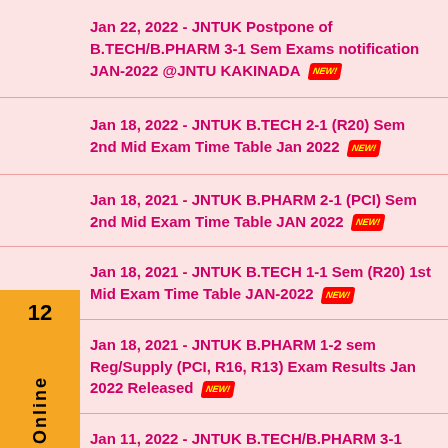Jan 22, 2022 - JNTUK Postpone of B.TECH/B.PHARM 3-1 Sem Exams notification JAN-2022 @JNTU KAKINADA NEW!
Jan 18, 2022 - JNTUK B.TECH 2-1 (R20) Sem 2nd Mid Exam Time Table Jan 2022 NEW!
Jan 18, 2021 - JNTUK B.PHARM 2-1 (PCI) Sem 2nd Mid Exam Time Table JAN 2022 NEW!
Jan 18, 2021 - JNTUK B.TECH 1-1 Sem (R20) 1st Mid Exam Time Table JAN-2022 NEW!
Jan 18, 2021 - JNTUK B.PHARM 1-2 sem Reg/Supply (PCI, R16, R13) Exam Results Jan 2022 Released NEW!
Jan 11, 2022 - JNTUK B.TECH/B.PHARM 3-1 Sem